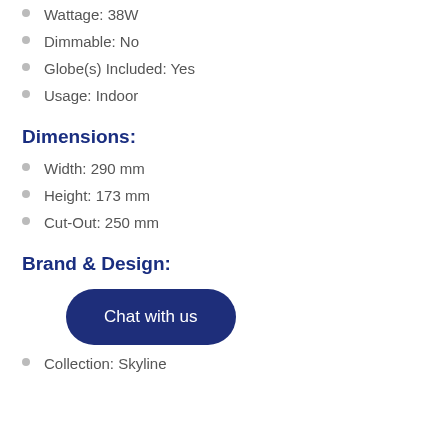Wattage: 38W
Dimmable: No
Globe(s) Included: Yes
Usage: Indoor
Dimensions:
Width: 290 mm
Height: 173 mm
Cut-Out: 250 mm
Brand & Design:
[Figure (other): Chat with us button overlay]
Collection: Skyline